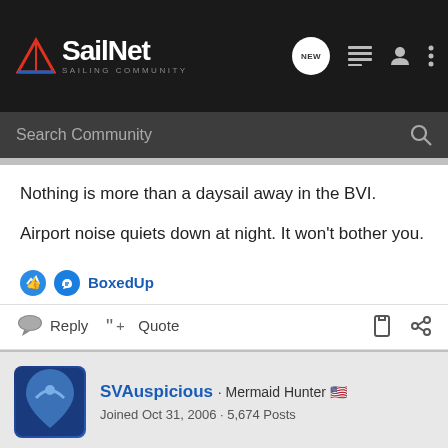SailNet SAILING COMMUNITY
Nothing is more than a daysail away in the BVI.
Airport noise quiets down at night. It won't bother you.
BoxedUp
Reply  Quote
SVAuspicious · Mermaid Hunter 🇺🇸
Joined Oct 31, 2006 · 5,674 Posts
#3 · Nov 7, 2014
GeorgeB said: ↑
I will be a first time BVI charterer next year. I'd like some info on